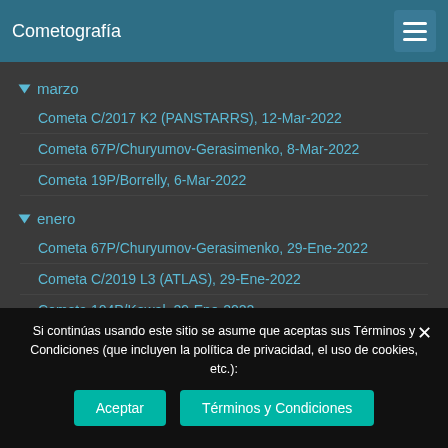Cometografía
▼ marzo
Cometa C/2017 K2 (PANSTARRS), 12-Mar-2022
Cometa 67P/Churyumov-Gerasimenko, 8-Mar-2022
Cometa 19P/Borrelly, 6-Mar-2022
▼ enero
Cometa 67P/Churyumov-Gerasimenko, 29-Ene-2022
Cometa C/2019 L3 (ATLAS), 29-Ene-2022
Cometa 104P/Kowal, 29-Ene-2022
Cometa 19P/Borrelly, 29-Ene-2022
Si continúas usando este sitio se asume que aceptas sus Términos y Condiciones (que incluyen la política de privacidad, el uso de cookies, etc.):